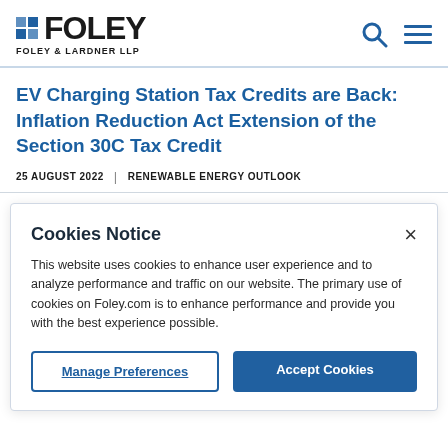FOLEY | FOLEY & LARDNER LLP
EV Charging Station Tax Credits are Back: Inflation Reduction Act Extension of the Section 30C Tax Credit
25 AUGUST 2022  |  RENEWABLE ENERGY OUTLOOK
Cookies Notice
This website uses cookies to enhance user experience and to analyze performance and traffic on our website. The primary use of cookies on Foley.com is to enhance performance and provide you with the best experience possible.
Manage Preferences  |  Accept Cookies